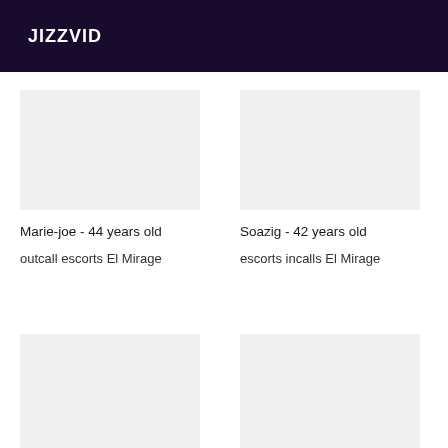JIZZVID
Marie-joe - 44 years old
outcall escorts El Mirage
Soazig - 42 years old
escorts incalls El Mirage
Chloris - 44 years old
hook up El Mirage
Sandye - 38 years old
El Mirage incall escorts